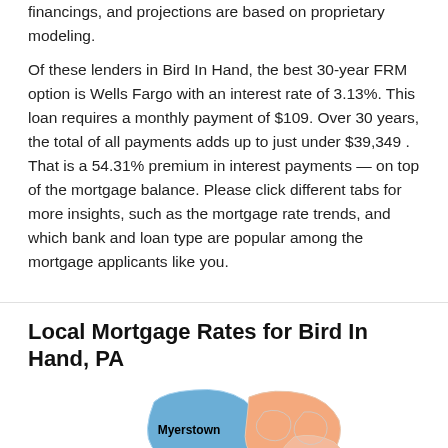financings, and projections are based on proprietary modeling.
Of these lenders in Bird In Hand, the best 30-year FRM option is Wells Fargo with an interest rate of 3.13%. This loan requires a monthly payment of $109. Over 30 years, the total of all payments adds up to just under $39,349 . That is a 54.31% premium in interest payments — on top of the mortgage balance. Please click different tabs for more insights, such as the mortgage rate trends, and which bank and loan type are popular among the mortgage applicants like you.
Local Mortgage Rates for Bird In Hand, PA
[Figure (map): Partial map showing local area around Bird In Hand, PA with regions labeled Myerstown and Lebanon visible, rendered in blue and peach/salmon tones.]